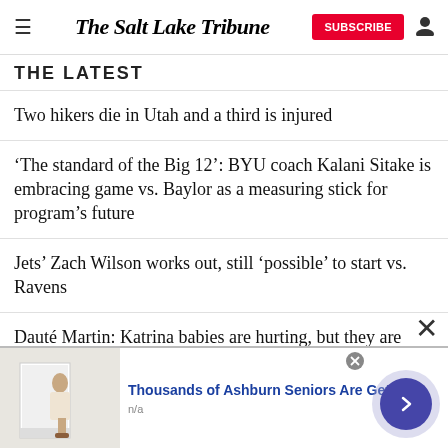The Salt Lake Tribune
THE LATEST
Two hikers die in Utah and a third is injured
'The standard of the Big 12': BYU coach Kalani Sitake is embracing game vs. Baylor as a measuring stick for program’s future
Jets’ Zach Wilson works out, still ‘possible’ to start vs. Ravens
Dauté Martin: Katrina babies are hurting, but they are healing, too
[Figure (other): Advertisement banner: image of person stepping into a walk-in shower, with text 'Thousands of Ashburn Seniors Are Getting' and 'n/a']